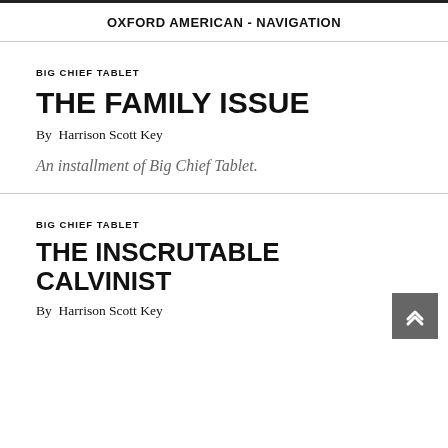OXFORD AMERICAN - NAVIGATION
BIG CHIEF TABLET
THE FAMILY ISSUE
By  Harrison Scott Key
An installment of Big Chief Tablet.
BIG CHIEF TABLET
THE INSCRUTABLE CALVINIST
By  Harrison Scott Key